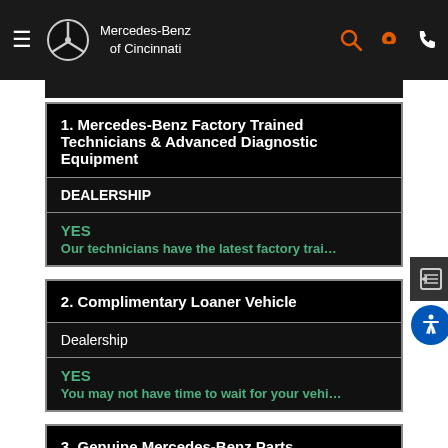Mercedes-Benz of Cincinnati
1. Mercedes-Benz Factory Trained Technicians & Advanced Diagnostic Equipment
DEALERSHIP
YES
Our technicians have the latest factory trai…
2. Complimentary Loaner Vehicle
Dealership
YES
You may not have time to wait for your vehi…
3. Genuine Mercedes-Benz Parts